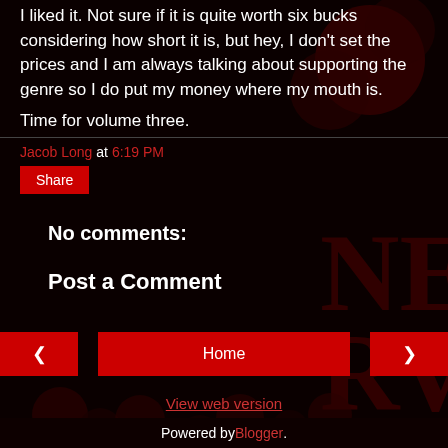I liked it. Not sure if it is quite worth six bucks considering how short it is, but hey, I don't set the prices and I am always talking about supporting the genre so I do put my money where my mouth is.
Time for volume three.
Jacob Long at 6:19 PM
Share
No comments:
Post a Comment
< Home > View web version
Powered by Blogger.